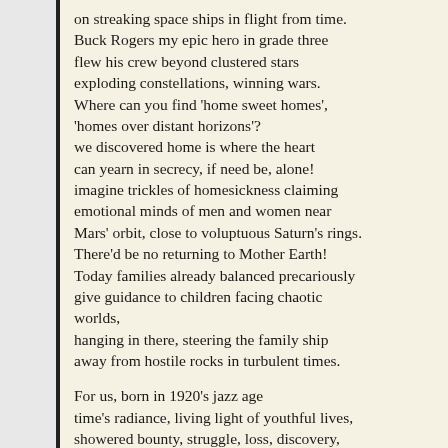on streaking space ships in flight from time.
Buck Rogers my epic hero in grade three
flew his crew beyond clustered stars
exploding constellations, winning wars.
Where can you find 'home sweet homes',
'homes over distant horizons'?
we discovered home is where the heart
can yearn in secrecy, if need be, alone!
imagine trickles of homesickness claiming
emotional minds of men and women near
Mars' orbit, close to voluptuous Saturn's rings.
There'd be no returning to Mother Earth!
Today families already balanced precariously
give guidance to children facing chaotic
worlds,
hanging in there, steering the family ship
away from hostile rocks in turbulent times.
For us, born in 1920's jazz age
time's radiance, living light of youthful lives,
showered bounty, struggle, loss, discovery,
optimism.
Reminiscing today brings guilt. Curious kids
ask,
Who will stop the menacing grotesques?